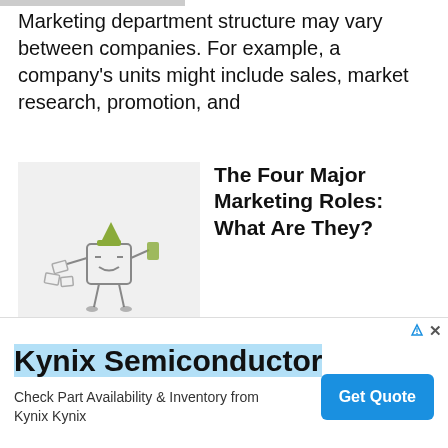Marketing department structure may vary between companies. For example, a company's units might include sales, market research, promotion, and
[Figure (illustration): Simple cartoon illustration of a character holding or throwing items, on a light grey background]
The Four Major Marketing Roles: What Are They?
Marketing plays an essential role in a business. Without this department, businesses cannot sell products. In fact, the company's products do not sell
[Figure (other): Advertisement for Kynix Semiconductor with Get Quote button]